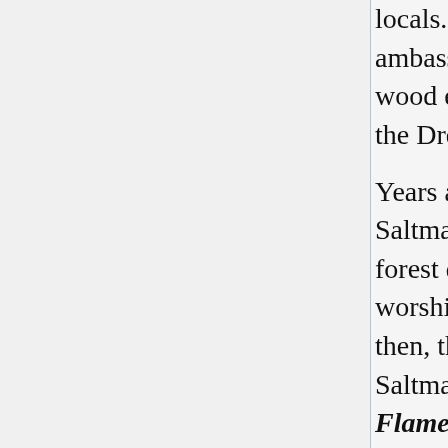locals. It also acts as an informal ambassador between locals and the wood elves and good-aligned fey of the Dreadwood.
Years ago, the warriors from Saltmarsh helped the denizens of the forest defeat an incursion by cultists worshiping elemental evil fire. Since then, the elves, the treants, and Saltmarsh have observed the Wild Flame Pact- a treaty that calls for mutual defense against the Dreadwood's horrors.
Burle. Burle is a fortified outpost that is always on guard for monsters emerging from the Dreadwood. It serves as a key stopover point for travelers venturing inland from the southern coastal region. The community is dominated by a small keep set atop a hill that overlooks the